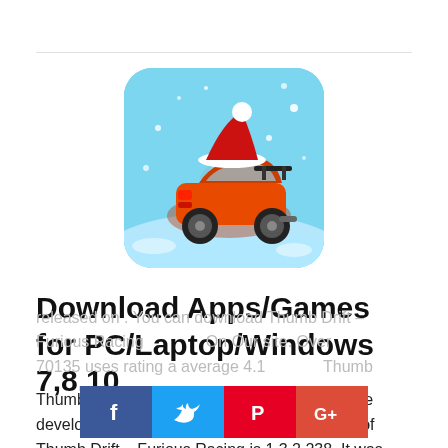[Figure (illustration): App icon for Thumb Drift – Furious Racing: an orange sports car with a Santa hat on a snowy blue background, viewed from rear-left angle.]
Download Apps/Games for PC/Laptop/Windows 7,8,10.
Thumb Drift – Furious Racing is a Racing game developed by SMG Studio. The latest version of Thumb Drift – Furious Racing is 1.3.2.238. It was released on . You can download Thumb Drift – Furious Racing On Our site. Over 70135 users rating a average 4.1 of 5 about Thumb Drift –